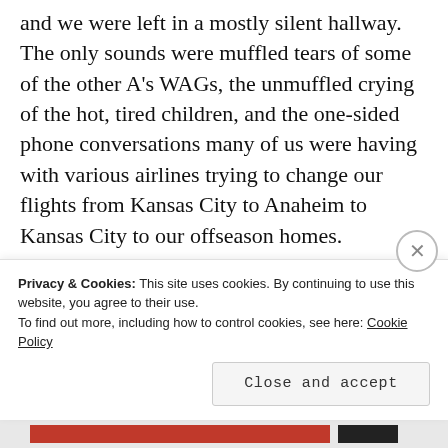and we were left in a mostly silent hallway. The only sounds were muffled tears of some of the other A's WAGs, the unmuffled crying of the hot, tired children, and the one-sided phone conversations many of us were having with various airlines trying to change our flights from Kansas City to Anaheim to Kansas City to our offseason homes.
That's a phone call I wouldn't wish
Privacy & Cookies: This site uses cookies. By continuing to use this website, you agree to their use.
To find out more, including how to control cookies, see here: Cookie Policy
Close and accept